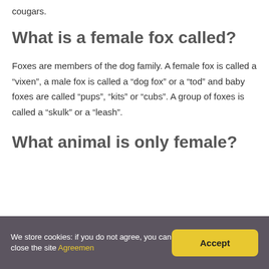cougars.
What is a female fox called?
Foxes are members of the dog family. A female fox is called a “vixen”, a male fox is called a “dog fox” or a “tod” and baby foxes are called “pups”, “kits” or “cubs”. A group of foxes is called a “skulk” or a “leash”.
What animal is only female?
We store cookies: if you do not agree, you can close the site Agreemen